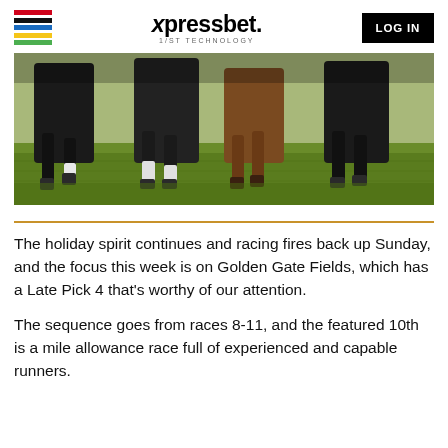xpressbet. 1/ST TECHNOLOGY | LOG IN
[Figure (photo): Close-up photo of multiple horses running on green grass, showing legs and lower bodies from a low angle.]
The holiday spirit continues and racing fires back up Sunday, and the focus this week is on Golden Gate Fields, which has a Late Pick 4 that's worthy of our attention.
The sequence goes from races 8-11, and the featured 10th is a mile allowance race full of experienced and capable runners.